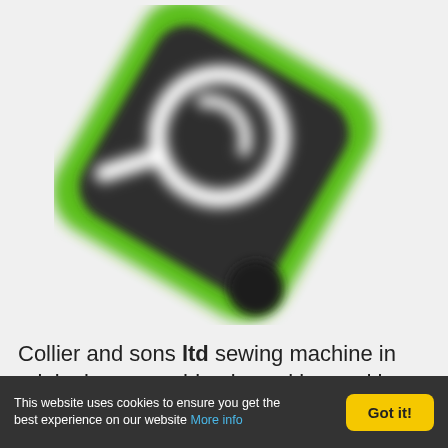[Figure (logo): A blurred search/magnifying glass icon on a dark rounded-square background with bright green outer shape, rotated about 30 degrees. A small dark circle is visible in the bottom-right of the green shape.]
Collier and sons ltd sewing machine in original casemachine is working and has all the original
This website uses cookies to ensure you get the best experience on our website More info
Got it!